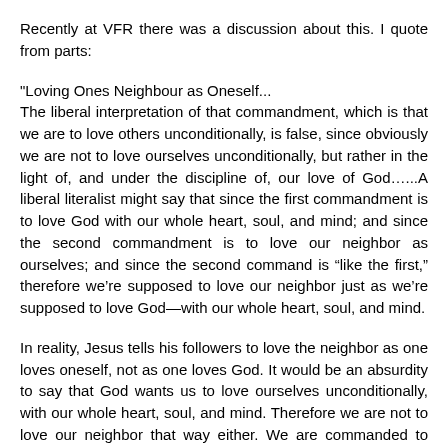Recently at VFR there was a discussion about this. I quote from parts:
"Loving Ones Neighbour as Oneself... The liberal interpretation of that commandment, which is that we are to love others unconditionally, is false, since obviously we are not to love ourselves unconditionally, but rather in the light of, and under the discipline of, our love of God…...A liberal literalist might say that since the first commandment is to love God with our whole heart, soul, and mind; and since the second commandment is to love our neighbor as ourselves; and since the second command is “like the first,” therefore we’re supposed to love our neighbor just as we’re supposed to love God—with our whole heart, soul, and mind.
In reality, Jesus tells his followers to love the neighbor as one loves oneself, not as one loves God. It would be an absurdity to say that God wants us to love ourselves unconditionally, with our whole heart, soul, and mind. Therefore we are not to love our neighbor that way either. We are commanded to love and follow God, and once we